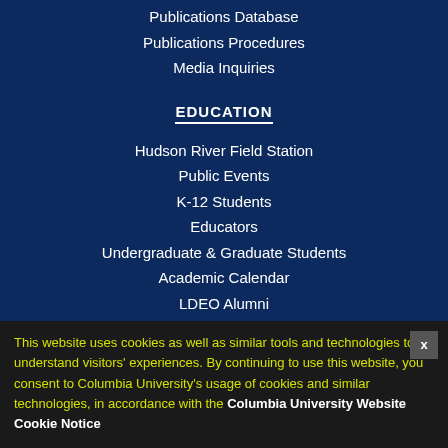Publications Database
Publications Procedures
Media Inquiries
EDUCATION
Hudson River Field Station
Public Events
K-12 Students
Educators
Undergraduate & Graduate Students
Academic Calendar
LDEO Alumni
Diversity at Lamont
SUPPORT
Ways to Give
This website uses cookies as well as similar tools and technologies to understand visitors' experiences. By continuing to use this website, you consent to Columbia University's usage of cookies and similar technologies, in accordance with the Columbia University Website Cookie Notice